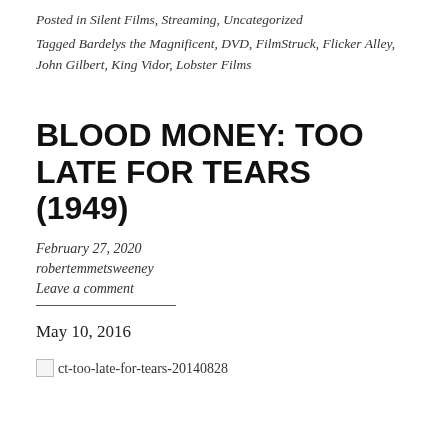Posted in Silent Films, Streaming, Uncategorized
Tagged Bardelys the Magnificent, DVD, FilmStruck, Flicker Alley, John Gilbert, King Vidor, Lobster Films
BLOOD MONEY: TOO LATE FOR TEARS (1949)
February 27, 2020
robertemmetsweeney
Leave a comment
May 10, 2016
[Figure (photo): Broken image placeholder labeled ct-too-late-for-tears-20140828]